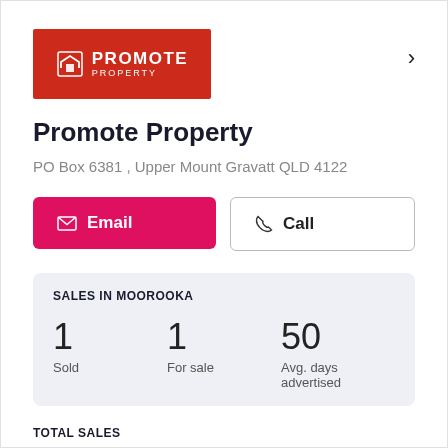[Figure (logo): Promote Property logo — red rectangle with house/P icon and white text PROMOTE PROPERTY]
Promote Property
PO Box 6381 , Upper Mount Gravatt QLD 4122
Email | Call (buttons)
SALES IN MOOROOKA
|  |  |  |
| --- | --- | --- |
| 1 | 1 | 50 |
| Sold | For sale | Avg. days advertised |
TOTAL SALES
|  |  |  |
| --- | --- | --- |
| 21 | 5 | 67 |